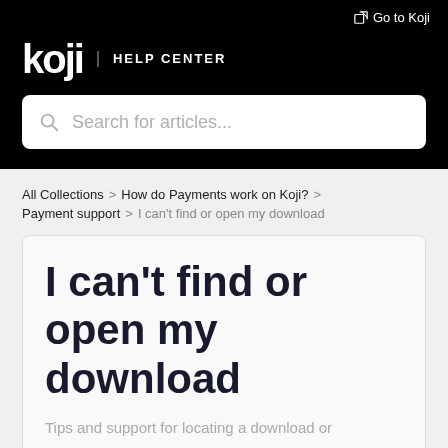Go to Koji
[Figure (logo): koji HELP CENTER logo on black background]
[Figure (screenshot): Search bar with placeholder text: Search for articles...]
All Collections > How do Payments work on Koji? > Payment support > I can't find or open my download
I can't find or open my download
Tips and support for locating a download or